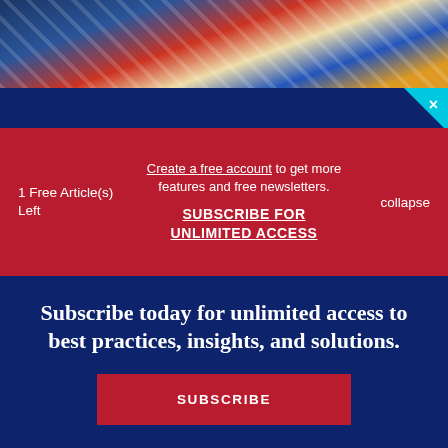[Figure (photo): Colorful photo strip showing flags or colorful fabric at the top of the page]
1 Free Article(s) Left
Create a free account to get more features and free newsletters.
SUBSCRIBE FOR UNLIMITED ACCESS
collapse
Subscribe today for unlimited access to best practices, insights, and solutions.
SUBSCRIBE